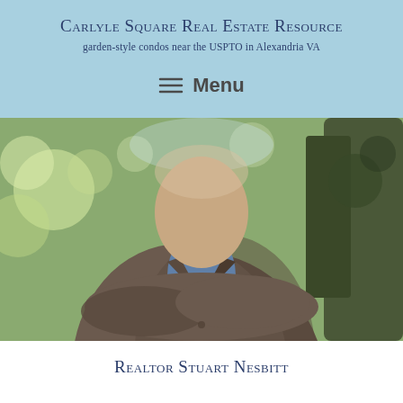Carlyle Square Real Estate Resource
garden-style condos near the USPTO in Alexandria VA
≡ Menu
[Figure (photo): Photo of Realtor Stuart Nesbitt, a man in a brown corduroy jacket with arms crossed, standing outdoors with trees in the background]
Realtor Stuart Nesbitt